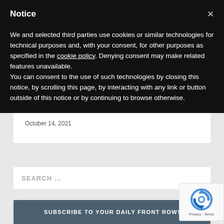Notice
We and selected third parties use cookies or similar technologies for technical purposes and, with your consent, for other purposes as specified in the cookie policy. Denying consent may make related features unavailable.
You can consent to the use of such technologies by closing this notice, by scrolling this page, by interacting with any link or button outside of this notice or by continuing to browse otherwise.
October 14, 2021
SEARCH ...
SUBSCRIBE TO YOUR DAILY FRONT ROW!